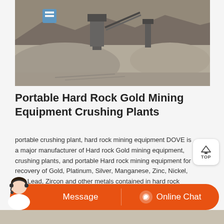[Figure (photo): Outdoor mining operation site showing piles of crushed stone/gravel, heavy machinery including crushers and conveyors, with stockpiles of aggregate material in a dusty outdoor setting.]
Portable Hard Rock Gold Mining Equipment Crushing Plants
portable crushing plant, hard rock mining equipment DOVE is a major manufacturer of Hard rock Gold mining equipment, crushing plants, and portable Hard rock mining equipment for recovery of Gold, Platinum, Silver, Manganese, Zinc, Nickel, Tin, Lead, Zircon and other metals contained in hard rock deposits (Primary deposits) and quartz rocks.
[Figure (photo): Customer service representative / chat avatar - woman wearing headset, lower portion of chat bar UI with Message and Online Chat buttons on orange background.]